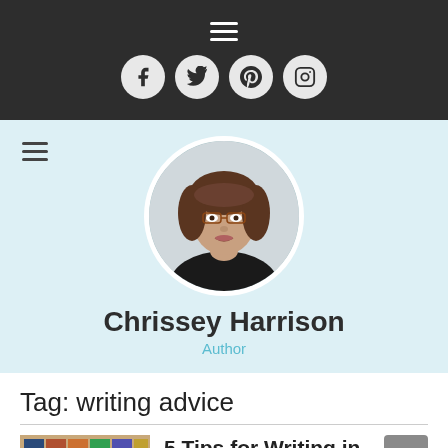Navigation menu and social icons header
[Figure (photo): Circular profile photo of Chrissey Harrison, a woman with brown hair and glasses]
Chrissey Harrison
Author
Tag: writing advice
[Figure (photo): Thumbnail image of colorful book spines arranged in a grid]
5 Tips for Writing in Multiple Genres